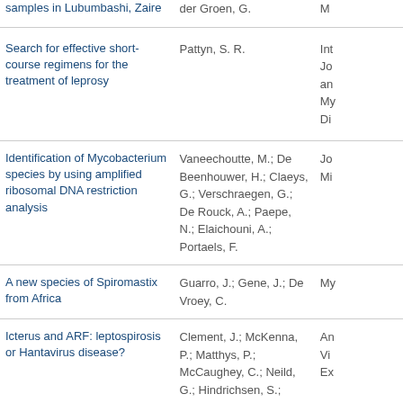| Title | Authors | Journal |
| --- | --- | --- |
| samples in Lubumbashi, Zaire | der Groen, G. | M... |
| Search for effective short-course regimens for the treatment of leprosy | Pattyn, S. R. | In... Jo... an... My... Di... |
| Identification of Mycobacterium species by using amplified ribosomal DNA restriction analysis | Vaneechoutte, M.; De Beenhouwer, H.; Claeys, G.; Verschraegen, G.; De Rouck, A.; Paepe, N.; Elaichouni, A.; Portaels, F. | Jo... Mi... |
| A new species of Spiromastix from Africa | Guarro, J.; Gene, J.; De Vroey, C. | My... |
| Icterus and ARF: leptospirosis or Hantavirus disease? | Clement, J.; McKenna, P.; Matthys, P.; McCaughey, C.; Neild, G.; Hindrichsen, S.; Leirs, H.; van der Groen, G. | An... Vi... Ex... |
|  | Vugia, D. J.; Kiehlbauch, J. A.; Yehoue, K. |  |